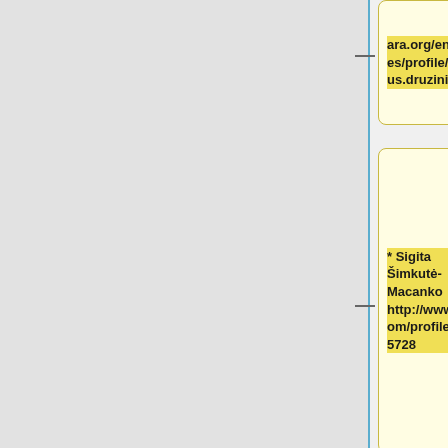ara.org/en/profiles/profile/andrius.druzinis/
* Sigita Šimkutė-Macanko http://www.ted.com/profiles/3765728
::http://www.amara.org/en/profiles/profile/sigita_mcsimkute/
==Macedonian==
* Aleksandar Mitevski http://www.ted.com/profiles/101...